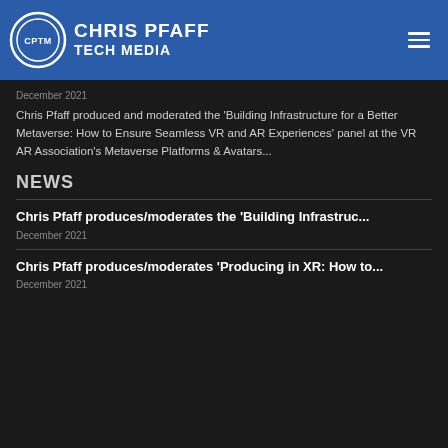CHRIS PFAFF TECH MEDIA
December 2021
Chris Pfaff produced and moderated the 'Building Infrastructure for a Better Metaverse: How to Ensure Seamless VR and AR Experiences' panel at the VR AR Association's Metaverse Platforms & Avatars...
NEWS
Chris Pfaff produces/moderates the 'Building Infrastruc...
December 2021
Chris Pfaff produces/moderates 'Producing in XR: How to...
December 2021